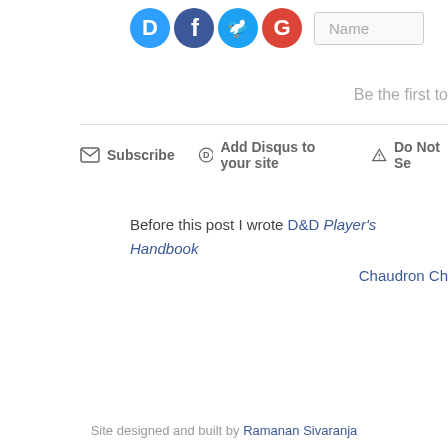[Figure (screenshot): Social login icons: Disqus (blue D), Facebook (blue f), Twitter (blue bird), Google (red G), followed by a Name input field]
Be the first to
Subscribe  Add Disqus to your site  Do Not Se
Before this post I wrote D&D Player's Handbook
Chaudron Ch
Site designed and built by Ramanan Sivaranja